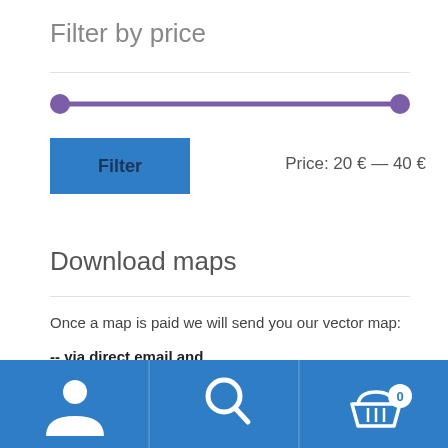Filter by price
[Figure (infographic): Price range slider with two purple circle handles at left (20€) and right (40€) ends of a purple horizontal track]
Filter
Price: 20 € — 40 €
Download maps
Once a map is paid we will send you our vector map:
-- via direct email and
-- a copy via Wetransfer
Delivery time: a minimum of...
[Figure (infographic): Blue bottom navigation bar with three icons: user/account icon, search magnifying glass icon, and shopping basket icon with badge showing 0]